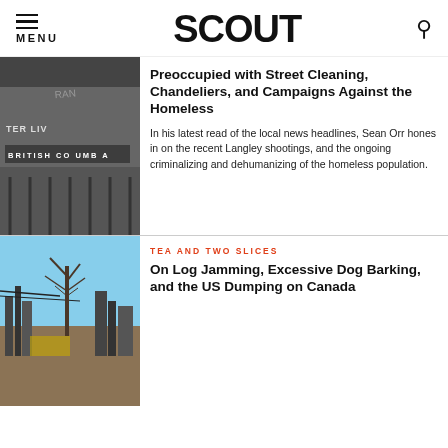MENU | SCOUT
[Figure (photo): A sign reading 'BRITISH COLUMBIA' on a building facade with graffiti]
Preoccupied with Street Cleaning, Chandeliers, and Campaigns Against the Homeless
In his latest read of the local news headlines, Sean Orr hones in on the recent Langley shootings, and the ongoing criminalizing and dehumanizing of the homeless population.
TEA AND TWO SLICES
[Figure (photo): A bare tree and fire-damaged structures against a blue sky]
On Log Jamming, Excessive Dog Barking, and the US Dumping on Canada